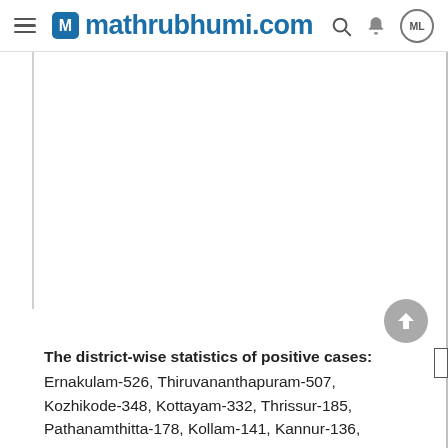mathrubhumi.com
The district-wise statistics of positive cases: Ernakulam-526, Thiruvananthapuram-507, Kozhikode-348, Kottayam-332, Thrissur-185, Pathanamthitta-178, Kollam-141, Kannur-136,